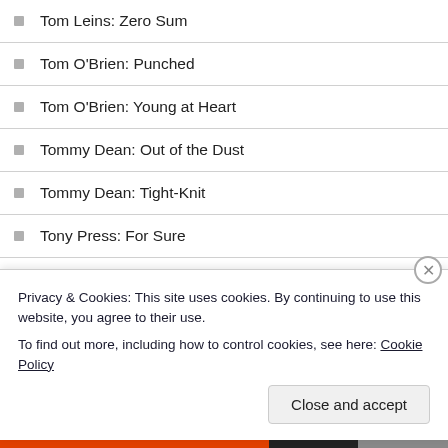Tom Leins: Zero Sum
Tom O'Brien: Punched
Tom O'Brien: Young at Heart
Tommy Dean: Out of the Dust
Tommy Dean: Tight-Knit
Tony Press: For Sure
Tony Press: Just Like That
Tony Press: Teacher on the Road
Traci Mullins: You See Nothing
Tracy Fells: Hare
Tracy Fells: When in Rome
Privacy & Cookies: This site uses cookies. By continuing to use this website, you agree to their use. To find out more, including how to control cookies, see here: Cookie Policy
Close and accept